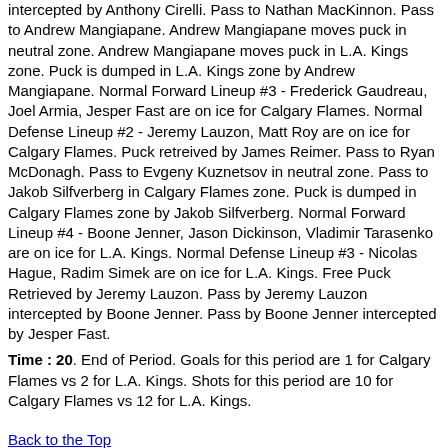intercepted by Anthony Cirelli. Pass to Nathan MacKinnon. Pass to Andrew Mangiapane. Andrew Mangiapane moves puck in neutral zone. Andrew Mangiapane moves puck in L.A. Kings zone. Puck is dumped in L.A. Kings zone by Andrew Mangiapane. Normal Forward Lineup #3 - Frederick Gaudreau, Joel Armia, Jesper Fast are on ice for Calgary Flames. Normal Defense Lineup #2 - Jeremy Lauzon, Matt Roy are on ice for Calgary Flames. Puck retreived by James Reimer. Pass to Ryan McDonagh. Pass to Evgeny Kuznetsov in neutral zone. Pass to Jakob Silfverberg in Calgary Flames zone. Puck is dumped in Calgary Flames zone by Jakob Silfverberg. Normal Forward Lineup #4 - Boone Jenner, Jason Dickinson, Vladimir Tarasenko are on ice for L.A. Kings. Normal Defense Lineup #3 - Nicolas Hague, Radim Simek are on ice for L.A. Kings. Free Puck Retrieved by Jeremy Lauzon. Pass by Jeremy Lauzon intercepted by Boone Jenner. Pass by Boone Jenner intercepted by Jesper Fast.
Time : 20. End of Period. Goals for this period are 1 for Calgary Flames vs 2 for L.A. Kings. Shots for this period are 10 for Calgary Flames vs 12 for L.A. Kings.
Back to the Top
Output by the SimonT Hockey Simulator (STHS) for Grant Farhall - Original Page W3C HTML5 Valid